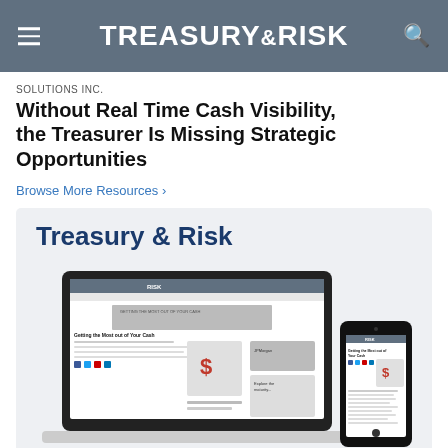TREASURY & RISK
SOLUTIONS INC.
Without Real Time Cash Visibility, the Treasurer Is Missing Strategic Opportunities
Browse More Resources ›
[Figure (screenshot): Preview card showing Treasury & Risk website on a laptop and mobile phone, with headline 'Getting the Most out of Your Cash']